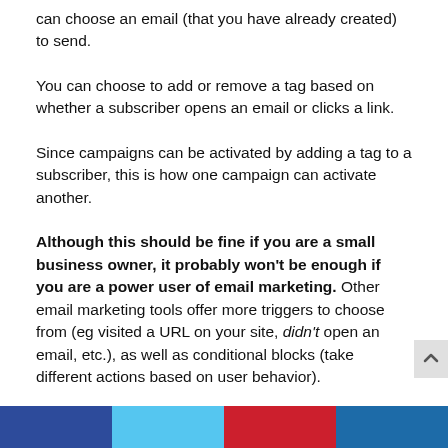can choose an email (that you have already created) to send.
You can choose to add or remove a tag based on whether a subscriber opens an email or clicks a link.
Since campaigns can be activated by adding a tag to a subscriber, this is how one campaign can activate another.
Although this should be fine if you are a small business owner, it probably won't be enough if you are a power user of email marketing. Other email marketing tools offer more triggers to choose from (eg visited a URL on your site, didn't open an email, etc.), as well as conditional blocks (take different actions based on user behavior).